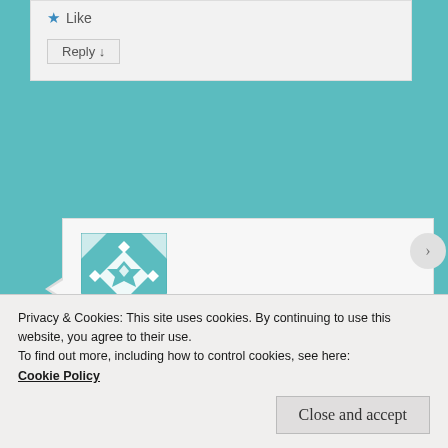★ Like
Reply ↓
[Figure (illustration): Teal/white geometric quilt-pattern avatar icon]
Alicia Landi on December 19, 2012 at 3:20 AM
said:
I know, it's great, right?
Privacy & Cookies: This site uses cookies. By continuing to use this website, you agree to their use.
To find out more, including how to control cookies, see here:
Cookie Policy
Close and accept